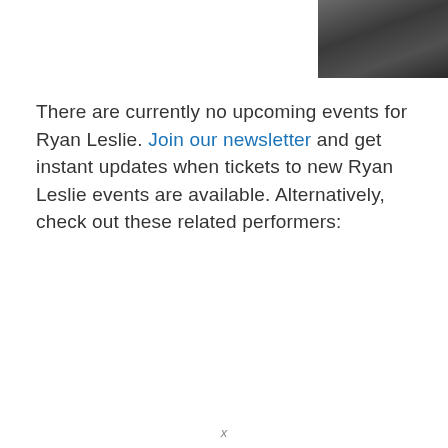[Figure (photo): Photo of Ryan Leslie, a man in dark clothing, partially visible in the top-right corner of the page]
There are currently no upcoming events for Ryan Leslie. Join our newsletter and get instant updates when tickets to new Ryan Leslie events are available. Alternatively, check out these related performers:
x